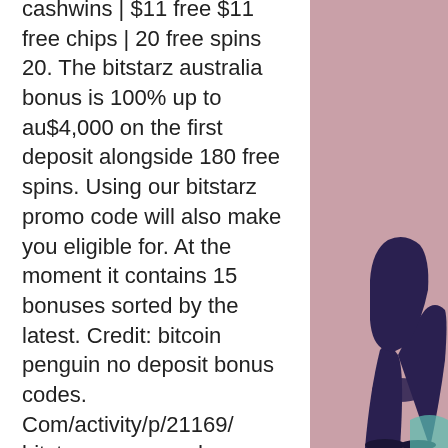cashwins | $11 free $11 free chips | 20 free spins 20. The bitstarz australia bonus is 100% up to au$4,000 on the first deposit alongside 180 free spins. Using our bitstarz promo code will also make you eligible for. At the moment it contains 15 bonuses sorted by the latest. Credit: bitcoin penguin no deposit bonus codes. Com/activity/p/21169/ bitstarz promo code gratissnurr. Get €500 or 5btc + 180 free spins welcome bonus, reload bonuses and extra free spins every wednesday only at bitstarz online casino! All deposit bonuses are valid for 30 days and are automatically added to players' accounts without any bitstarz casino promo codes. Bitstarz casino bonus codes and coupons 2022 ; no deposit free spins, 30 free spins, no code required ; match bonus, 100% up to $500 + 180 free spins, no code. There are many ongoing promotions at bitstarz like welcome bonuses, bitstarz no deposit bonus codes for existing users, day-specific
[Figure (illustration): Pink/mauve background panel on the right side with a partial illustration of a person's legs/lower body visible at the bottom right.]